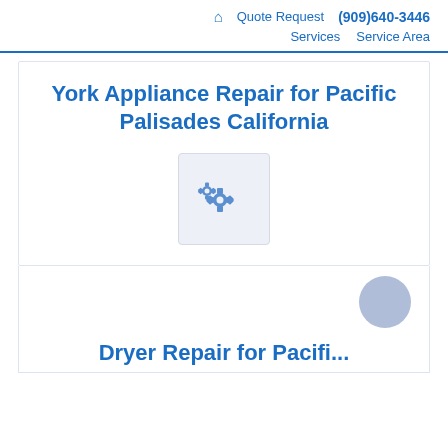🏠 Quote Request (909)640-3446 | Services Service Area
York Appliance Repair for Pacific Palisades California
[Figure (illustration): Two gear/settings icons on a light blue-grey box background]
Dryer Repair for Pacific...